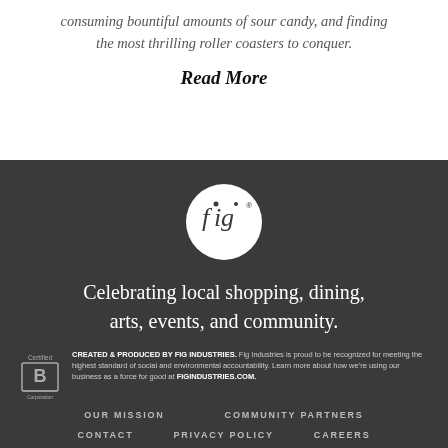consuming bountiful amounts of sour candy, and finding the most thrilling roller coasters to conquer.
Read More
[Figure (logo): Fig Industries circular logo — white circle with 'fig' lettering inside on dark background]
Celebrating local shopping, dining, arts, events, and community.
CREATED & PRODUCED BY FIG INDUSTRIES. Fig Industries is proud to be recognized for meeting the highest standard of social and environmental accountability. Learn more about how we're using our business as a force for good at FIGINDUSTRIES.COM.
OUR MISSION   COMMUNITY PARTNERS   CONTACT   PRIVACY POLICY   CAREERS